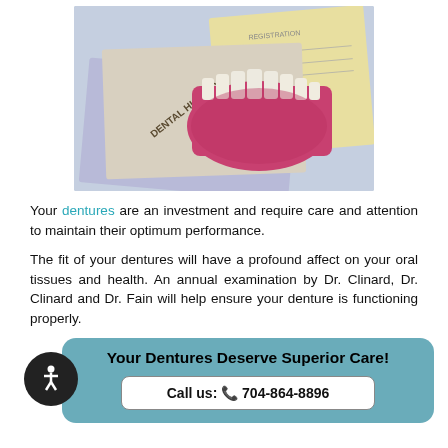[Figure (photo): A dental model (lower jaw with teeth) placed on top of dental history registration forms on a light blue/purple background]
Your dentures are an investment and require care and attention to maintain their optimum performance.
The fit of your dentures will have a profound affect on your oral tissues and health. An annual examination by Dr. Clinard, Dr. Clinard and Dr. Fain will help ensure your denture is functioning properly.
Your Dentures Deserve Superior Care!
Call us: 704-864-8896